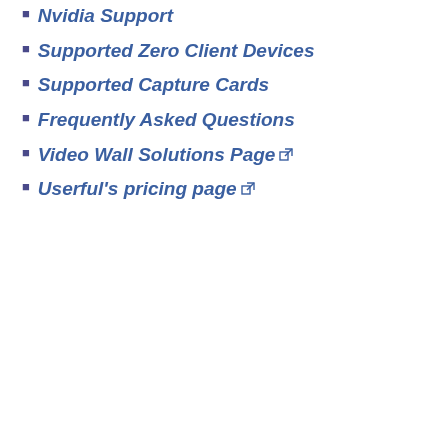Nvidia Support
Supported Zero Client Devices
Supported Capture Cards
Frequently Asked Questions
Video Wall Solutions Page
Userful's pricing page